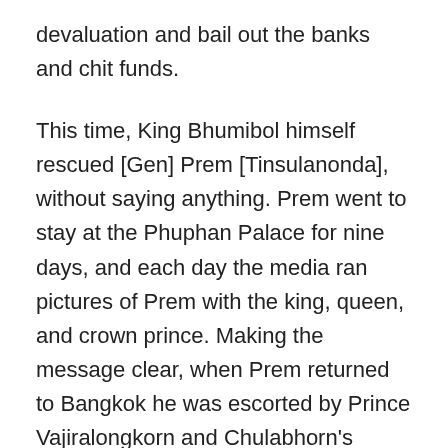devaluation and bail out the banks and chit funds.
This time, King Bhumibol himself rescued [Gen] Prem [Tinsulanonda], without saying anything. Prem went to stay at the Phuphan Palace for nine days, and each day the media ran pictures of Prem with the king, queen, and crown prince. Making the message clear, when Prem returned to Bangkok he was escorted by Prince Vajiralongkorn and Chulabhorn's consort Captain Virayuth. When Arthit then flew to the Phuphan Palace, Prem turned around and went back. What was said in their discussions with the king was not made public, but the episode ended with Prem still in power and Arthit unpunished for his series of mutinous acts. The devaluation stood and the Mae Chamoy Fund was shut down, but only after more backball dealings